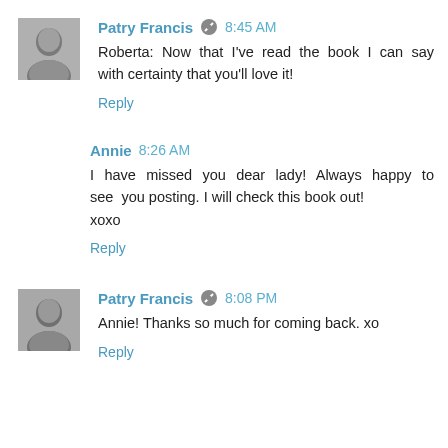Patry Francis  8:45 AM
Roberta: Now that I've read the book I can say with certainty that you'll love it!
Reply
Annie  8:26 AM
I have missed you dear lady! Always happy to see you posting. I will check this book out!
xoxo
Reply
Patry Francis  8:08 PM
Annie! Thanks so much for coming back. xo
Reply